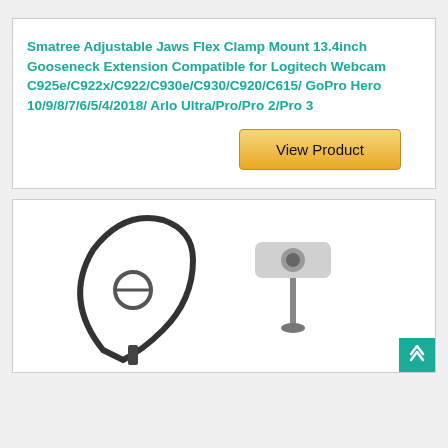Smatree Adjustable Jaws Flex Clamp Mount 13.4inch Gooseneck Extension Compatible for Logitech Webcam C925e/C922x/C922/C930e/C930/C920/C615/ GoPro Hero 10/9/8/7/6/5/4/2018/ Arlo Ultra/Pro/Pro 2/Pro 3
[Figure (other): Golden 'View Product' button]
[Figure (photo): Product image showing webcam mount and gooseneck clamp with camera on white background, partially visible at bottom of page]